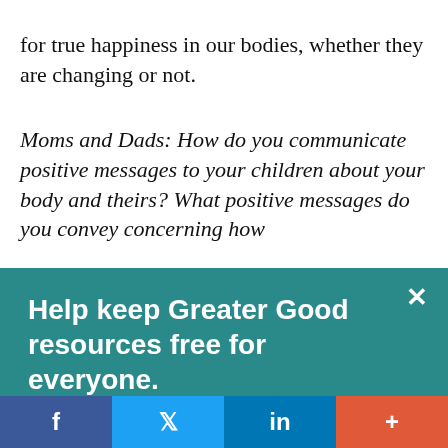for true happiness in our bodies, whether they are changing or not.
Moms and Dads: How do you communicate positive messages to your children about your body and theirs? What positive messages do you convey concerning how
Help keep Greater Good resources free for everyone.
To share the “science of a meaningful life” we rely on readers like you. Please donate today.
Give Now
f  t  in  +